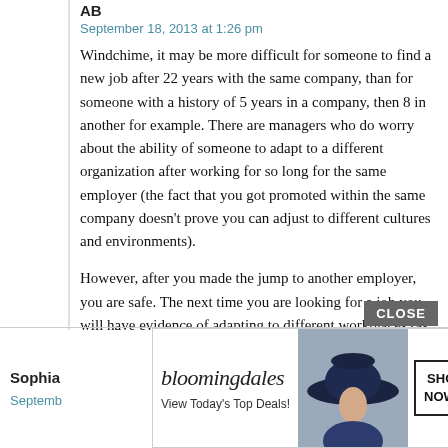AB
September 18, 2013 at 1:26 pm
Windchime, it may be more difficult for someone to find a new job after 22 years with the same company, than for someone with a history of 5 years in a company, then 8 in another for example. There are managers who do worry about the ability of someone to adapt to a different organization after working for so long for the same employer (the fact that you got promoted within the same company doesn't prove you can adjust to different cultures and environments).
However, after you made the jump to another employer, you are safe. The next time you are looking for a job you will have evidence of adapting to different workplaces (as long as you don't try to leave too soon from the second job, which could make hiring managers wonder about your ability to change).
Sophia
Septemb...